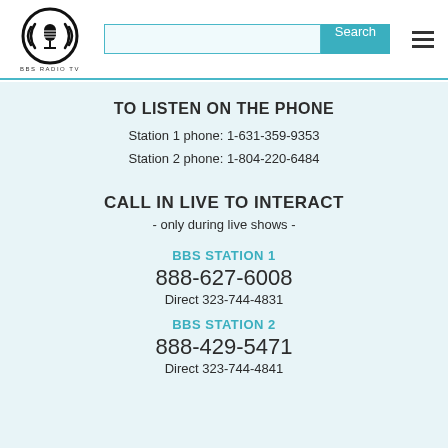[Figure (logo): BBS Radio TV logo - circular emblem with microphone graphic in black and white, with text BBS RADIO TV below]
Search
TO LISTEN ON THE PHONE
Station 1 phone: 1-631-359-9353
Station 2 phone: 1-804-220-6484
CALL IN LIVE TO INTERACT
- only during live shows -
BBS STATION 1
888-627-6008
Direct 323-744-4831
BBS STATION 2
888-429-5471
Direct 323-744-4841